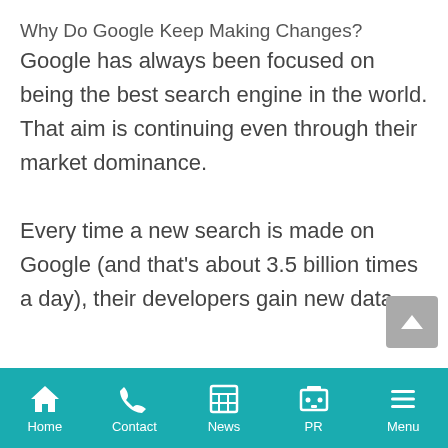Why Do Google Keep Making Changes?
Google has always been focused on being the best search engine in the world. That aim is continuing even through their market dominance.

Every time a new search is made on Google (and that's about 3.5 billion times a day), their developers gain new data
Home | Contact | News | PR | Menu